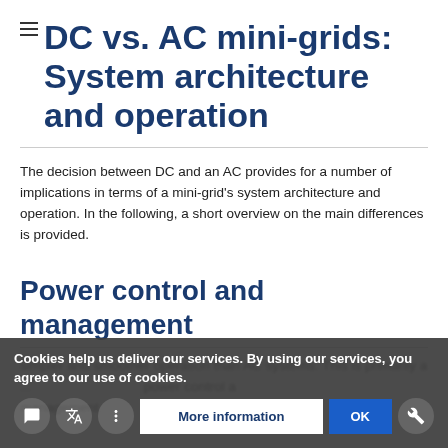DC vs. AC mini-grids: System architecture and operation
The decision between DC and an AC provides for a number of implications in terms of a mini-grid's system architecture and operation. In the following, a short overview on the main differences is provided.
Power control and management
simpler and smoother operation than AC systems. This is primarily a ... power control and management.